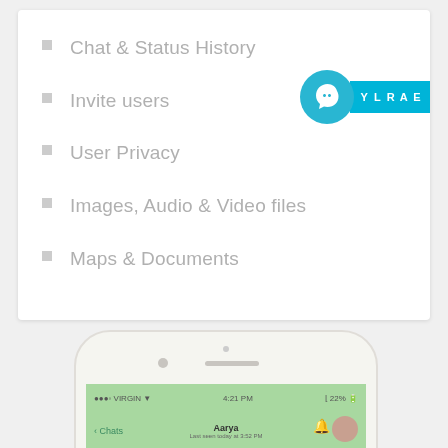Chat & Status History
Invite users
User Privacy
Images, Audio & Video files
Maps & Documents
[Figure (screenshot): Partial view of an iPhone showing a chat app screen with green status bar displaying 'Aarya' contact name and a chat message bubble with 'Hi']